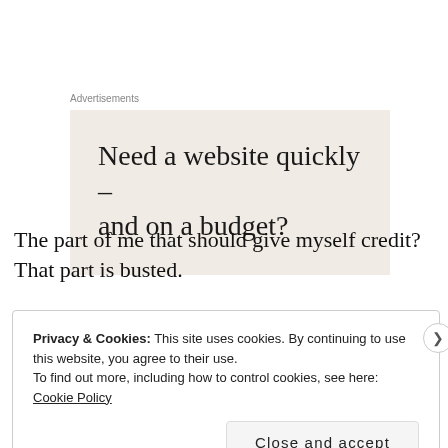[Figure (other): Advertisement banner with beige background reading 'Need a website quickly – and on a budget?']
The part of me that should give myself credit? That part is busted.
Privacy & Cookies: This site uses cookies. By continuing to use this website, you agree to their use.
To find out more, including how to control cookies, see here: Cookie Policy

Close and accept